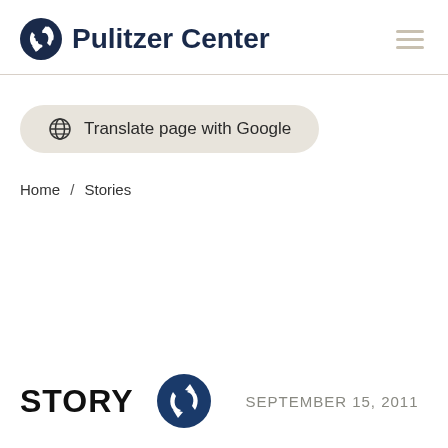Pulitzer Center
Translate page with Google
Home / Stories
STORY  SEPTEMBER 15, 2011